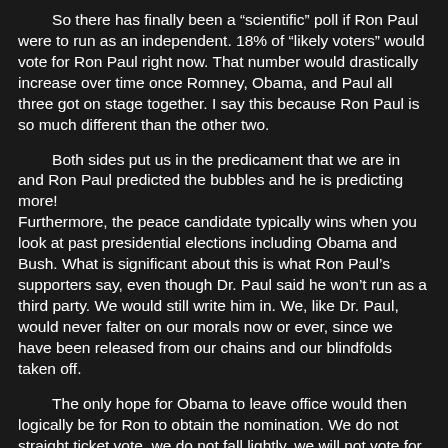So there has finally been a “scientific” poll if Ron Paul were to run as an independent.  18% of “likely voters” would vote for Ron Paul right now.  That number would drastically increase over time once Romney, Obama, and Paul all three got on stage together. I say this because Ron Paul is so much different than the other two.
Both sides put us in the predicament that we are in and Ron Paul predicted the bubbles and he is predicting more!  Furthermore, the peace candidate typically wins when you look at past presidential elections including Obama and Bush.  What is significant about this is what Ron Paul’s supporters say, even though Dr. Paul said he won’t run as a third party.  We would still write him in.  We, like Dr. Paul, would never falter on our morals now or ever, since we have been released from our chains and our blindfolds taken off.
The only hope for Obama to leave office would then logically be for Ron to obtain the nomination.  We do not straight ticket vote, we do not fall lightly, we will not vote for Obama or Romney.  This statement is not just my statement but a common statement said by the many of the will Ron Paul supporters as well.